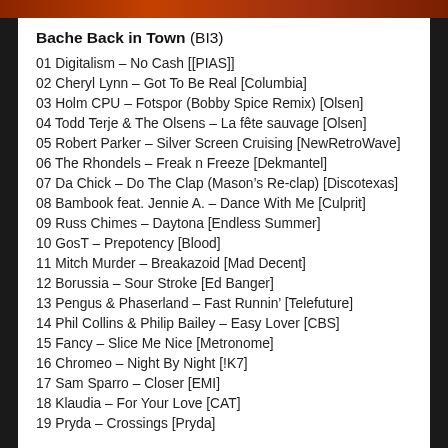Bache Back in Town (BI3)
01 Digitalism – No Cash [[PIAS]]
02 Cheryl Lynn – Got To Be Real [Columbia]
03 Holm CPU – Fotspor (Bobby Spice Remix) [Olsen]
04 Todd Terje & The Olsens – La fête sauvage [Olsen]
05 Robert Parker – Silver Screen Cruising [NewRetroWave]
06 The Rhondels – Freak n Freeze [Dekmantel]
07 Da Chick – Do The Clap (Mason's Re-clap) [Discotexas]
08 Bambook feat. Jennie A. – Dance With Me [Culprit]
09 Russ Chimes – Daytona [Endless Summer]
10 GosT – Prepotency [Blood]
11 Mitch Murder – Breakazoid [Mad Decent]
12 Borussia – Sour Stroke [Ed Banger]
13 Pengus & Phaserland – Fast Runnin' [Telefuture]
14 Phil Collins & Philip Bailey – Easy Lover [CBS]
15 Fancy – Slice Me Nice [Metronome]
16 Chromeo – Night By Night [!K7]
17 Sam Sparro – Closer [EMI]
18 Klaudia – For Your Love [CAT]
19 Pryda – Crossings [Pryda]